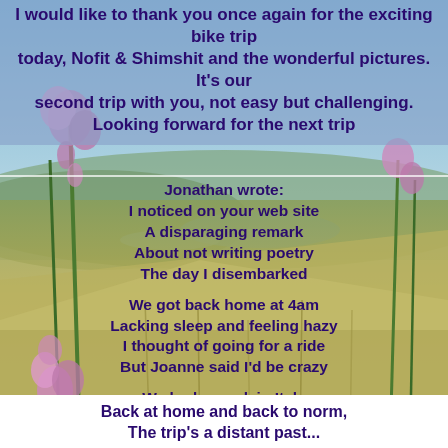I would like to thank you once again for the exciting bike trip today, Nofit & Shimshit and the wonderful pictures. It's our second trip with you, not easy but challenging. Looking forward for the next trip
[Figure (photo): Landscape photo showing a hilltop view with pink/purple wildflowers (hollyhocks) in the foreground, green and golden hillside grasses, and a wide valley with water bodies and settlements in the background under a blue sky.]
Jonathan wrote:
I noticed on your web site
A disparaging remark
About not writing poetry
The day I disembarked

We got back home at 4am
Lacking sleep and feeling hazy
I thought of going for a ride
But Joanne said I'd be crazy

We had a week in Italy
Of ice creams, wine and pasta
I have to lose some weight now so
My riding can get faster

We saw many riders on their bikes
Along the scenic plains
Green hills, clear skies and deep blue seas
Though next to Horsashim it all seems tame

Back at home and back to norm,
The trip's a distant past...